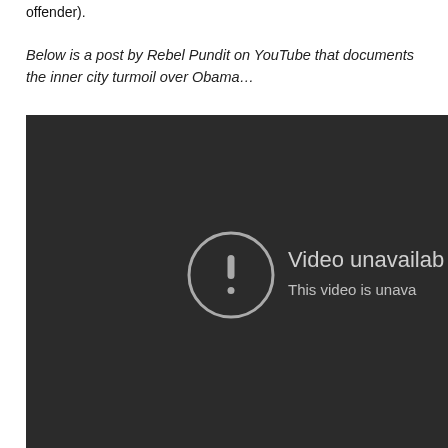offender).
Below is a post by Rebel Pundit on YouTube that documents the inner city turmoil over Obama…
[Figure (screenshot): A YouTube video player showing a 'Video unavailable' error message with a circular exclamation mark icon on a dark background. Text reads 'Video unavailable' and 'This video is unava...']